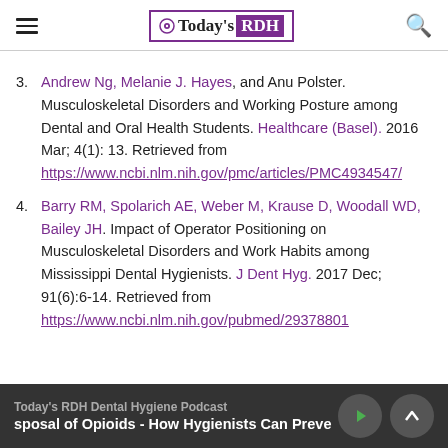Today's RDH
3. Andrew Ng, Melanie J. Hayes, and Anu Polster. Musculoskeletal Disorders and Working Posture among Dental and Oral Health Students. Healthcare (Basel). 2016 Mar; 4(1): 13. Retrieved from https://www.ncbi.nlm.nih.gov/pmc/articles/PMC4934547/
4. Barry RM, Spolarich AE, Weber M, Krause D, Woodall WD, Bailey JH. Impact of Operator Positioning on Musculoskeletal Disorders and Work Habits among Mississippi Dental Hygienists. J Dent Hyg. 2017 Dec; 91(6):6-14. Retrieved from https://www.ncbi.nlm.nih.gov/pubmed/29378801
Today's RDH Dental Hygiene Podcast | sposal of Opioids - How Hygienists Can Preve...